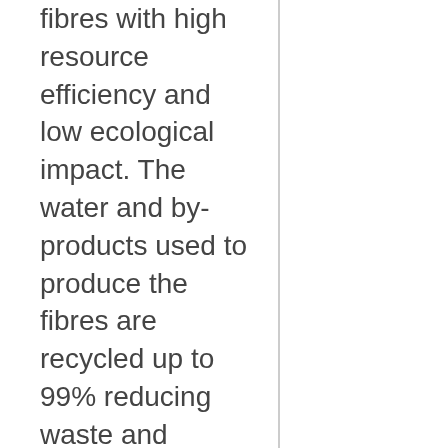fibres with high resource efficiency and low ecological impact. The water and by-products used to produce the fibres are recycled up to 99% reducing waste and environmental